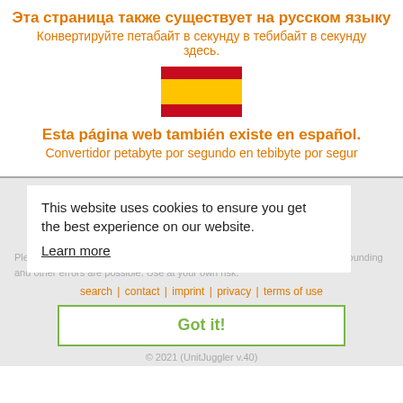Эта страница также существует на русском языку
Конвертируйте петабайт в секунду в тебибайт в секунду здесь.
[Figure (illustration): Spanish flag — red and yellow horizontal stripes]
Esta página web también existe en español.
Convertidor petabyte por segundo en tebibyte por segur
This website uses cookies to ensure you get the best experience on our website. Learn more
Please counter-check the results. Despite thorough controls by our means, rounding and other errors are possible. Use at your own risk.
search | contact | imprint | privacy | terms of use
Got it!
© 2021 (UnitJuggler v.40)